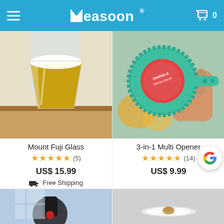Measoon® — hamburger menu, logo, cart icon with 0
[Figure (photo): Product photo of Mount Fuji Glass filled with golden beer/liquid on a wooden surface]
[Figure (photo): Product photo of 3-in-1 Multi Opener, a teal/green jar opener tool being held by a hand with a red-labeled jar cap]
Mount Fuji Glass
★★★★★ (5)
US$ 15.99
🚚 Free Shipping
3-in-1 Multi Opener
★★★★★ (14)
US$ 9.99
[Figure (photo): Bottom-left product image, partially visible — appears to be a kitchen gadget against a light/blue background]
[Figure (photo): Bottom-right product image, partially visible — appears to be a white circular item on a gray background]